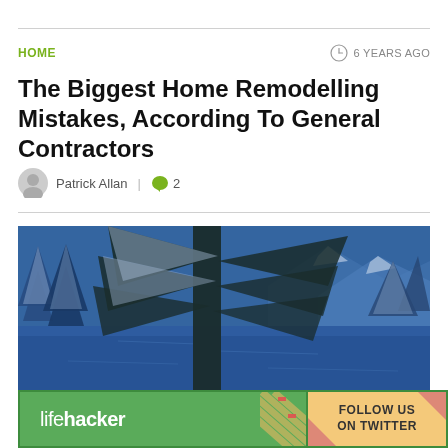HOME
The Biggest Home Remodelling Mistakes, According To General Contractors
Patrick Allan  |  2
[Figure (photo): Snow-covered evergreen trees beside a blue lake with snow-covered mountains in the background under a blue-tinted winter sky.]
[Figure (logo): Lifehacker advertisement banner with green background showing 'lifehacker' logo on the left and 'FOLLOW US ON TWITTER' text on an orange/tan right section with decorative diagonal stripe divider.]